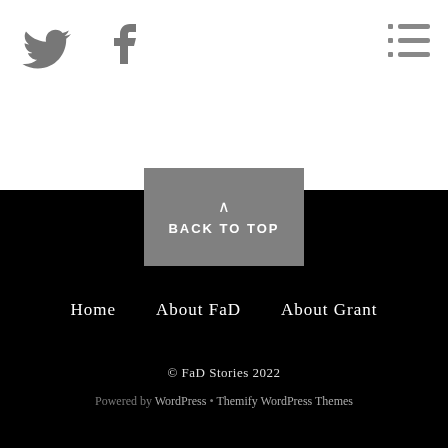[Figure (illustration): Twitter bird icon (gray) in top-left area of white header section]
[Figure (illustration): Facebook 'f' icon (gray) to the right of the Twitter icon in white header section]
[Figure (illustration): Hamburger/menu icon (three horizontal lines with dots) in top-right corner]
BACK TO TOP
Home   About FaD   About Grant
© FaD Stories 2022
Powered by WordPress • Themify WordPress Themes